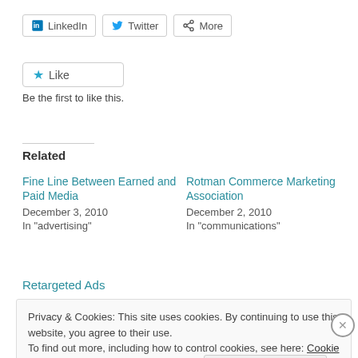[Figure (other): Share buttons: LinkedIn, Twitter, More]
[Figure (other): Like button with star icon]
Be the first to like this.
Related
Fine Line Between Earned and Paid Media
December 3, 2010
In "advertising"
Rotman Commerce Marketing Association
December 2, 2010
In "communications"
Retargeted Ads
Privacy & Cookies: This site uses cookies. By continuing to use this website, you agree to their use.
To find out more, including how to control cookies, see here: Cookie Policy
Close and accept